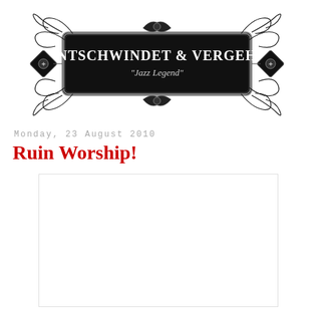[Figure (logo): Ornate decorative logo banner with filigree borders. Black rectangular badge in center reads 'ENTSCHWINDET & VERGEHT' in large serif letters, with 'Jazz Legend' in italic script below. Surrounded by elaborate black scrollwork and cross/diamond ornaments on left and right.]
Monday, 23 August 2010
Ruin Worship!
[Figure (photo): White/blank image placeholder area]